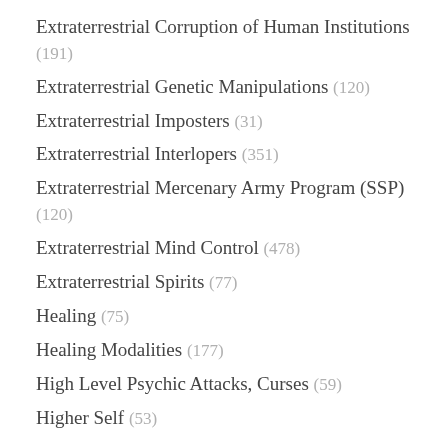Extraterrestrial Corruption of Human Institutions (191)
Extraterrestrial Genetic Manipulations (120)
Extraterrestrial Imposters (31)
Extraterrestrial Interlopers (351)
Extraterrestrial Mercenary Army Program (SSP) (120)
Extraterrestrial Mind Control (478)
Extraterrestrial Spirits (77)
Healing (75)
Healing Modalities (177)
High Level Psychic Attacks, Curses (59)
Higher Self (53)